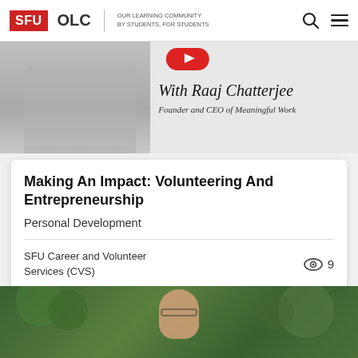SFU OLC | OUR LEARNING COMMUNITY BY STUDENTS, FOR STUDENTS
[Figure (photo): Grayscale photo of a man in a button-up shirt with text overlay: 'With Raaj Chatterjee, Founder and CEO of Meaningful Work' and a red play button]
Making An Impact: Volunteering And Entrepreneurship
Personal Development
SFU Career and Volunteer Services (CVS)
[Figure (photo): Photo of a young man with glasses in front of green leafy background]